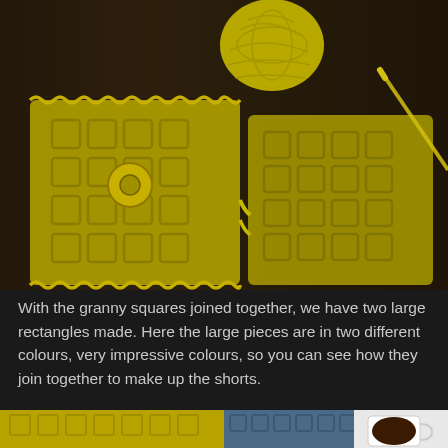[Figure (photo): Overhead photo of yellow/chartreuse crochet granny square motifs laid flat on a dark wooden surface, with a ball of yellow yarn and a crochet hook visible. Two large rectangular pieces made of joined granny squares are shown.]
With the granny squares joined together, we have two large rectangles made. Here the large pieces are in two different colours, very impressive colours, so you can see how they join together to make up the shorts.
[Figure (photo): Partial photo at bottom showing yellow crochet work on the left and blue crochet work next to a white cup of coffee on the right, on a dark background.]